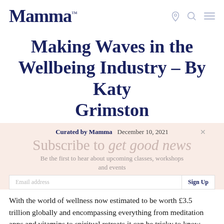Mamma™
Making Waves in the Wellbeing Industry – By Katy Grimston
Curated by Mamma   December 10, 2021
Subscribe to get good news
Be the first to hear about upcoming classes, workshops and events
With the world of wellness now estimated to be worth £3.5 trillion globally and encompassing everything from meditation apps and vitamins to spiritual retreats it can be tricky to know where to begin. The Mamma Wellbeing platform is an excellent starting point. The website